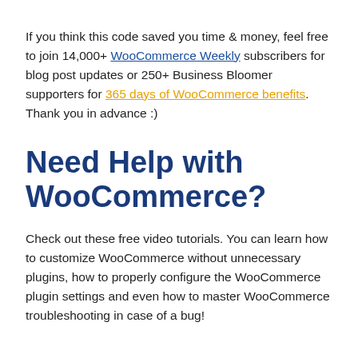If you think this code saved you time & money, feel free to join 14,000+ WooCommerce Weekly subscribers for blog post updates or 250+ Business Bloomer supporters for 365 days of WooCommerce benefits. Thank you in advance :)
Need Help with WooCommerce?
Check out these free video tutorials. You can learn how to customize WooCommerce without unnecessary plugins, how to properly configure the WooCommerce plugin settings and even how to master WooCommerce troubleshooting in case of a bug!